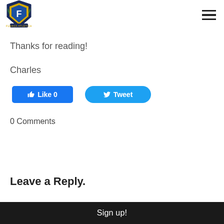[Figure (logo): School/organization shield logo with letter F, blue and gold colors, with olive branches]
Thanks for reading!
Charles
[Figure (other): Social media buttons: Facebook Like 0 and Twitter Tweet]
0 Comments
Leave a Reply.
Sign up!